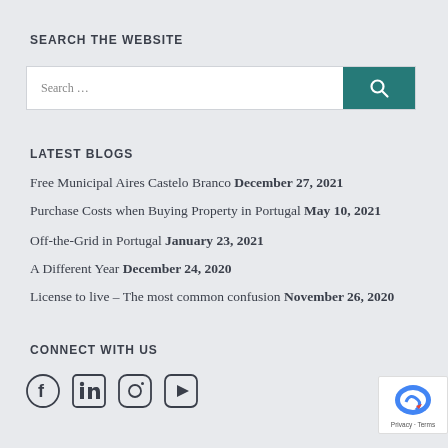SEARCH THE WEBSITE
[Figure (other): Search bar with text 'Search …' and a teal search button with magnifying glass icon]
LATEST BLOGS
Free Municipal Aires Castelo Branco December 27, 2021
Purchase Costs when Buying Property in Portugal May 10, 2021
Off-the-Grid in Portugal January 23, 2021
A Different Year December 24, 2020
License to live – The most common confusion November 26, 2020
CONNECT WITH US
[Figure (other): Social media icons: Facebook, LinkedIn, Instagram, YouTube]
[Figure (other): reCAPTCHA badge with Privacy and Terms links]